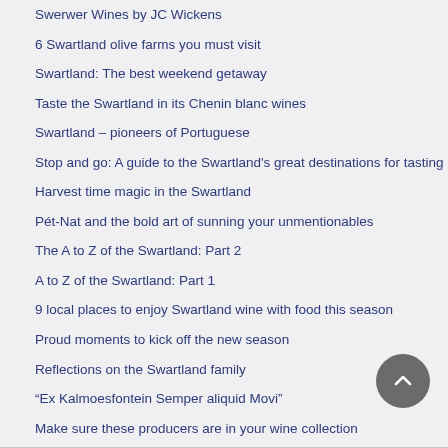Swerwer Wines by JC Wickens
6 Swartland olive farms you must visit
Swartland: The best weekend getaway
Taste the Swartland in its Chenin blanc wines
Swartland – pioneers of Portuguese
Stop and go: A guide to the Swartland's great destinations for tasting
Harvest time magic in the Swartland
Pét-Nat and the bold art of sunning your unmentionables
The A to Z of the Swartland: Part 2
A to Z of the Swartland: Part 1
9 local places to enjoy Swartland wine with food this season
Proud moments to kick off the new season
Reflections on the Swartland family
“Ex Kalmoesfontein Semper aliquid Movi”
Make sure these producers are in your wine collection